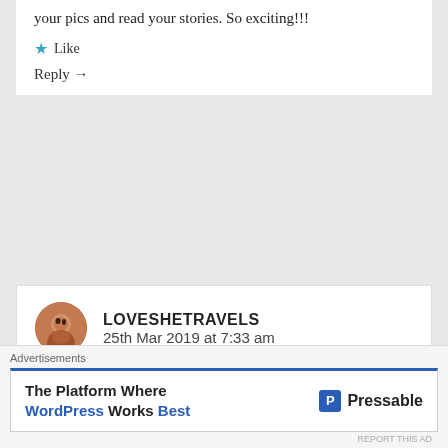your pics and read your stories. So exciting!!!
★ Like
Reply →
[Figure (photo): Circular avatar photo of a person, reddish-brown tones]
LOVESHETRAVELS
25th Mar 2019 at 7:33 am
Thanks lovely! It's only two weeks away now – I'm so excited!
★ Like
Reply →
Advertisements
The Platform Where WordPress Works Best   Pressable